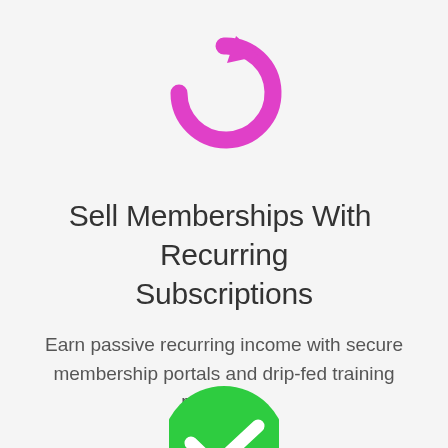[Figure (illustration): Pink/magenta refresh/redo circular arrow icon]
Sell Memberships With Recurring Subscriptions
Earn passive recurring income with secure membership portals and drip-fed training programs.
[Figure (illustration): Green circle checkmark icon, partially cropped at bottom of page]